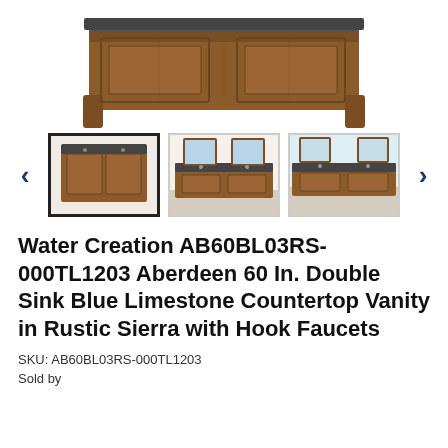[Figure (photo): Top portion of a rustic brown wooden bathroom vanity cabinet with dark countertop, partially cropped at the top of the page]
[Figure (photo): Thumbnail image carousel showing three thumbnail photos of the Water Creation Aberdeen vanity. First thumbnail (selected, with bold border) shows front view of the double vanity. Second thumbnail shows a bathroom setting with the vanity. Third thumbnail shows another bathroom setting view. Left and right navigation arrows on either side.]
Water Creation AB60BL03RS-000TL1203 Aberdeen 60 In. Double Sink Blue Limestone Countertop Vanity in Rustic Sierra with Hook Faucets
SKU: AB60BL03RS-000TL1203
Sold by